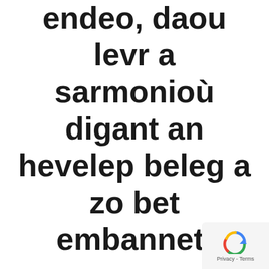endeo, daou levr a sarmonioù digant an hevelep beleg a zo bet embannet.
Bold  40
I de lyriske digt er digterens stemninger og
[Figure (screenshot): reCAPTCHA privacy badge with rotating arrow icon and Privacy - Terms text]